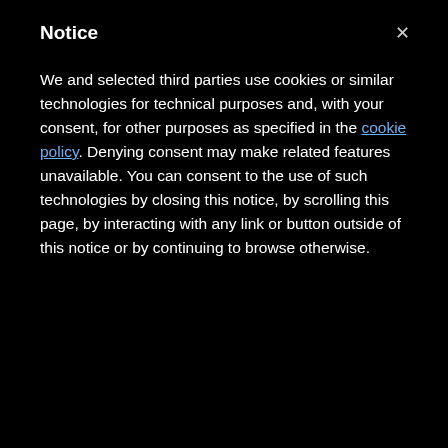Notice
We and selected third parties use cookies or similar technologies for technical purposes and, with your consent, for other purposes as specified in the cookie policy. Denying consent may make related features unavailable. You can consent to the use of such technologies by closing this notice, by scrolling this page, by interacting with any link or button outside of this notice or by continuing to browse otherwise.
UNDER THE MICROSCOPE: 60 women on Hermann Trophy Watch List
A FOX FRIENDLY: USWNT vs. England to air on Oct. 7
SOCCER TWEETS
USL Champi  @USLCham  · 2m